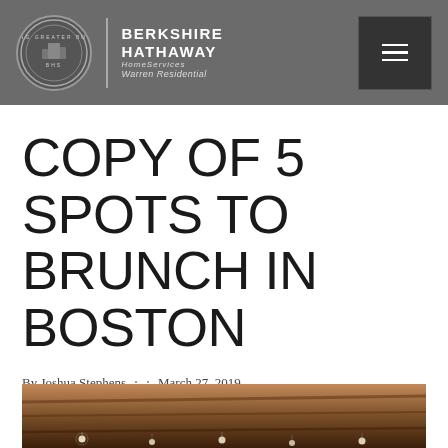BERKSHIRE HATHAWAY HomeServices Warren Residential
COPY OF 5 SPOTS TO BRUNCH IN BOSTON
By Joshua Stephens · March 27, 2019
[Figure (photo): Interior photo of a restaurant with string lights and wooden ceiling beams, warm amber tones]